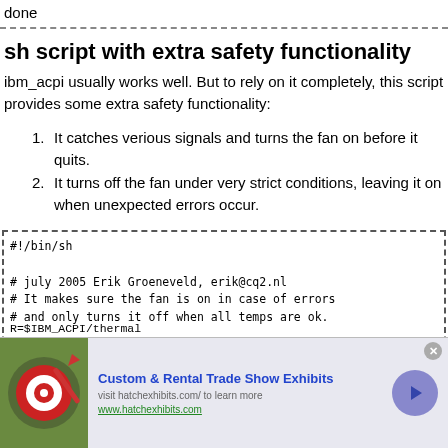done
sh script with extra safety functionality
ibm_acpi usually works well. But to rely on it completely, this script provides some extra safety functionality:
It catches verious signals and turns the fan on before it quits.
It turns off the fan under very strict conditions, leaving it on when unexpected errors occur.
#!/bin/sh

# july 2005 Erik Groeneveld, erik@cq2.nl
# It makes sure the fan is on in case of errors
# and only turns it off when all temps are ok.

IBM_ACPI=/proc/acpi/ibm
R=$IBM_ACPI/thermal
[Figure (screenshot): Infolinks advertisement banner for Custom & Rental Trade Show Exhibits with dart board image, visit hatchexhibits.com]